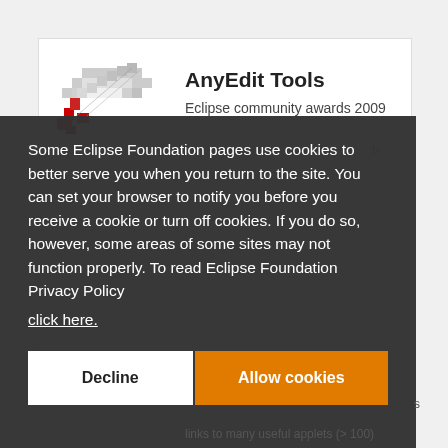[Figure (logo): AnyEdit Tools plugin logo — pixel-art style rocket/pencil icon with red and white colors]
AnyEdit Tools
Eclipse community awards 2009
Some Eclipse Foundation pages use cookies to better serve you when you return to the site. You can set your browser to notify you before you receive a cookie or turn off cookies. If you do so, however, some areas of some sites may not function properly. To read Eclipse Foundation Privacy Policy click here.
links to many useful applets (> 100)